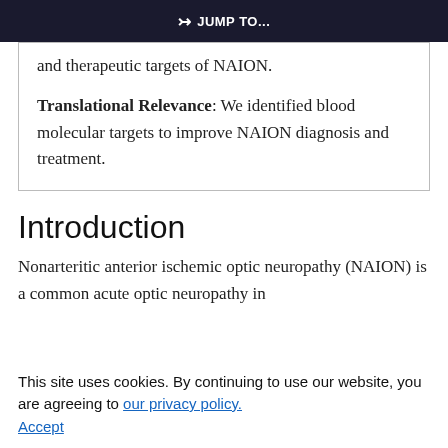JUMP TO...
and therapeutic targets of NAION.
Translational Relevance: We identified blood molecular targets to improve NAION diagnosis and treatment.
Introduction
Nonarteritic anterior ischemic optic neuropathy (NAION) is a common acute optic neuropathy in
This site uses cookies. By continuing to use our website, you are agreeing to our privacy policy. Accept